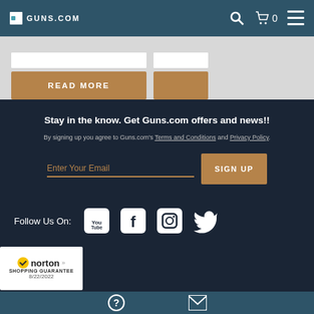Guns.com navigation header with logo, search, cart (0), and menu
[Figure (screenshot): Partial content cards with white input bars and READ MORE button in tan/brown]
Stay in the know. Get Guns.com offers and news!!
By signing up you agree to Guns.com's Terms and Conditions and Privacy Policy.
Enter Your Email
SIGN UP
Follow Us On:
[Figure (logo): YouTube, Facebook, Instagram, Twitter social media icons]
[Figure (logo): Norton Shopping Guarantee badge dated 8/22/2022]
Bottom strip with help and contact icons